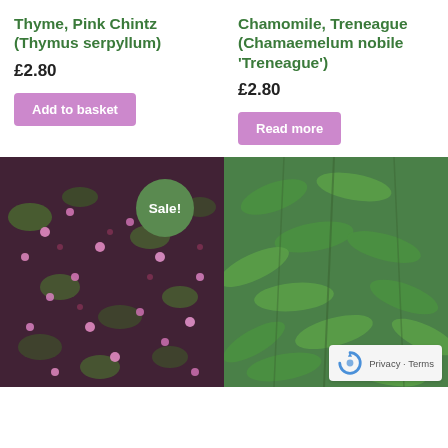Thyme, Pink Chintz (Thymus serpyllum)
£2.80
Add to basket
Chamomile, Treneague (Chamaemelum nobile 'Treneague')
£2.80
Read more
[Figure (photo): Close-up photo of pink thyme flowers (Thymus serpyllum) with small pink blooms and dark reddish foliage, with a green 'Sale!' badge overlay]
[Figure (photo): Close-up photo of chamomile (Chamaemelum nobile 'Treneague') showing dense green oval leaves]
Privacy · Terms